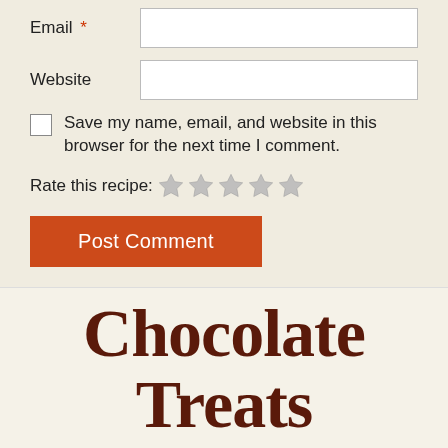Email *
Website
Save my name, email, and website in this browser for the next time I comment.
Rate this recipe: ☆☆☆☆☆
Post Comment
Chocolate Treats
Yes, you can have chocolate on GAPS!